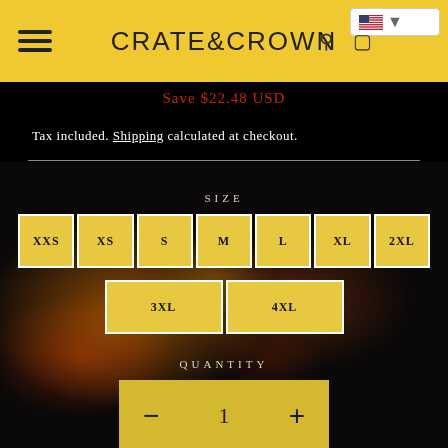CRATE&CROWN
Save $22.48 USD
Tax included. Shipping calculated at checkout.
SIZE
XXS
XS
S
M
L
XL
2XL
3XL
4XL
QUANTITY
- 1 +
ADD TO CART